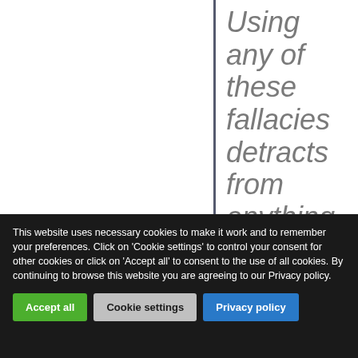Using any of these fallacies detracts from anything useful you may be trying to say and destroys what you are trying to
This website uses necessary cookies to make it work and to remember your preferences. Click on 'Cookie settings' to control your consent for other cookies or click on 'Accept all' to consent to the use of all cookies. By continuing to browse this website you are agreeing to our Privacy policy.